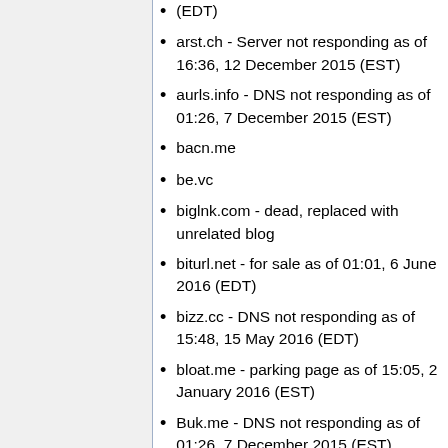(EDT)
arst.ch - Server not responding as of 16:36, 12 December 2015 (EST)
aurls.info - DNS not responding as of 01:26, 7 December 2015 (EST)
bacn.me
be.vc
biglnk.com - dead, replaced with unrelated blog
biturl.net - for sale as of 01:01, 6 June 2016 (EDT)
bizz.cc - DNS not responding as of 15:48, 15 May 2016 (EDT)
bloat.me - parking page as of 15:05, 2 January 2016 (EST)
Buk.me - DNS not responding as of 01:26, 7 December 2015 (EST)
buraga.org - seems to be a social network, not a url shortener as of